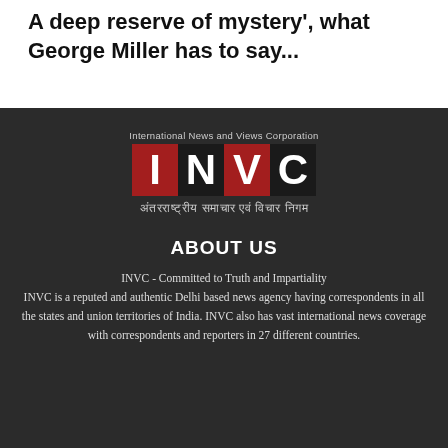A deep reserve of mystery', what George Miller has to say...
[Figure (logo): INVC logo — International News and Views Corporation, with large red and dark block letters I N V C and Hindi text: अंतरराष्ट्रीय समाचार एवं विचार निगम]
ABOUT US
INVC - Committed to Truth and Impartiality
INVC is a reputed and authentic Delhi based news agency having correspondents in all the states and union territories of India. INVC also has vast international news coverage with correspondents and reporters in 27 different countries.